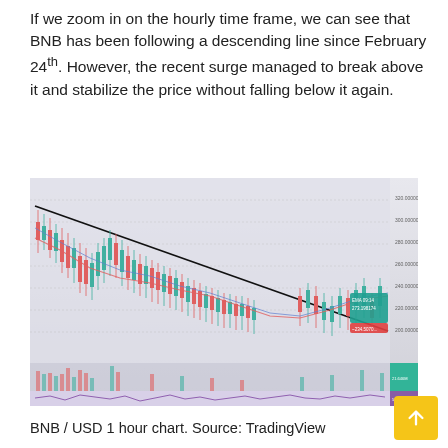If we zoom in on the hourly time frame, we can see that BNB has been following a descending line since February 24th. However, the recent surge managed to break above it and stabilize the price without falling below it again.
[Figure (continuous-plot): BNB/USD 1 hour candlestick chart showing a descending trendline from upper-left to lower-right, with price breaking above the line near the right side. Chart includes moving average lines, volume bars at bottom, and an oscillator panel below. Price range approximately 120-320 USD.]
BNB / USD 1 hour chart. Source: TradingView